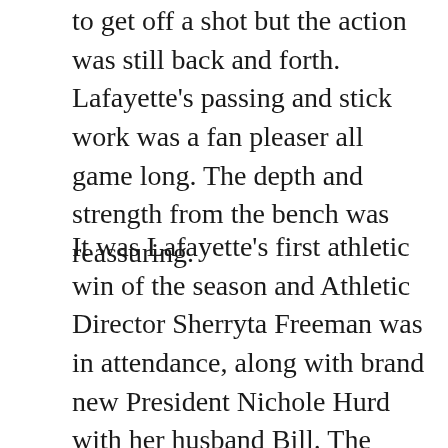to get off a shot but the action was still back and forth. Lafayette's passing and stick work was a fan pleaser all game long. The depth and strength from the bench was reassuring.
It was Lafayette's first athletic win of the season and Athletic Director Sherryta Freeman was in attendance, along with brand new President Nichole Hurd with her husband Bill. The Leopards will get one day's rest before taking on the Wildcats of Villanova at Rappolt Field at 3 pm on